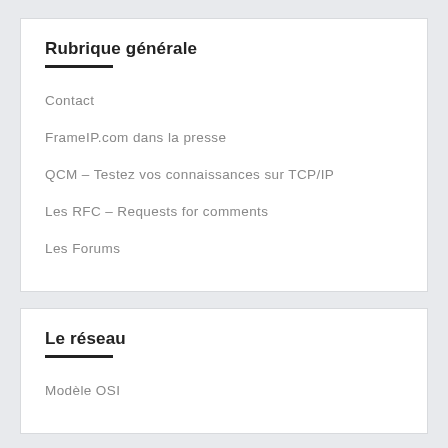Rubrique générale
Contact
FrameIP.com dans la presse
QCM – Testez vos connaissances sur TCP/IP
Les RFC – Requests for comments
Les Forums
Le réseau
Modèle OSI